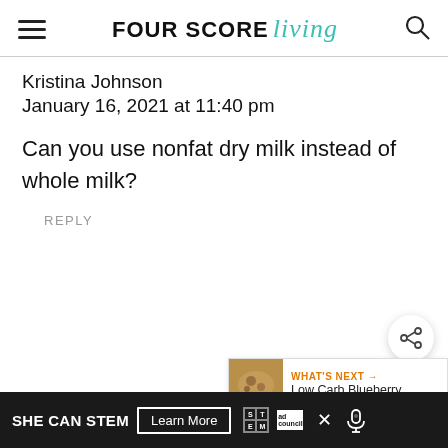FOUR SCORE living
Kristina Johnson
January 16, 2021 at 11:40 pm
Can you use nonfat dry milk instead of whole milk?
REPLY
[Figure (other): Share button icon (circular button with share symbol)]
[Figure (other): WHAT'S NEXT panel showing Low Carb Blueberry... with thumbnail image of baked goods]
Chrystal
January 18, 2021 at 6:33 am
[Figure (other): Advertisement bar: SHE CAN STEM Learn More with STEM grid logo, Ad Council logo, and close/mic icons]